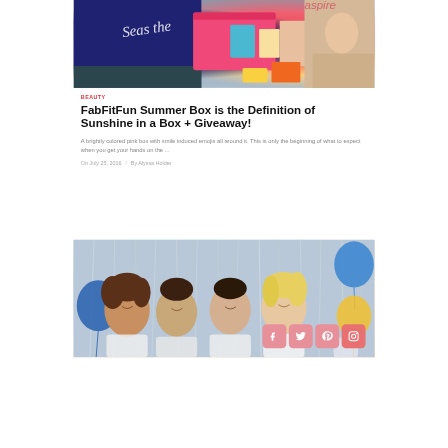[Figure (photo): Top banner photo showing a navy blue tote bag with cursive text 'Seas the...' on grass, alongside a pink FabFitFun subscription box with various beauty products and magazines spilling out]
BEAUTY
FabFitFun Summer Box is the Definition of Sunshine in a Box + Giveaway!
A brightly colored pink box with smile induced emojis all around it. This is only the beginning of what to expect when you get your hands on the ...
On July 25, 2016  /  By Alyssa Holder
[Figure (photo): Four young women smiling together in front of a silver tinsel curtain backdrop with blue and gold balloons. Social media icons (Facebook, Twitter, Pinterest, Instagram) overlaid at bottom right.]